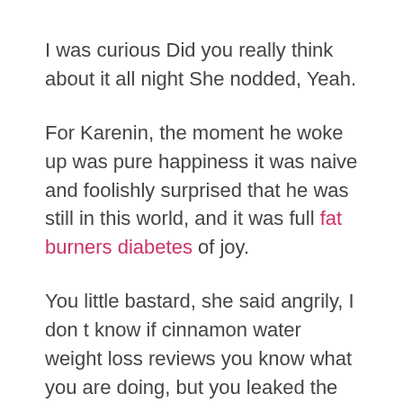I was curious Did you really think about it all night She nodded, Yeah.
For Karenin, the moment he woke up was pure happiness it was naive and foolishly surprised that he was still in this world, and it was full fat burners diabetes of joy.
You little bastard, she said angrily, I don t know if cinnamon water weight loss reviews you know what you are doing, but you leaked the report and I want to You can t do anything.
Do this. In the evening, Sibel s female high school classmate Yehhim got engaged at the Pella Pallas Hotel.